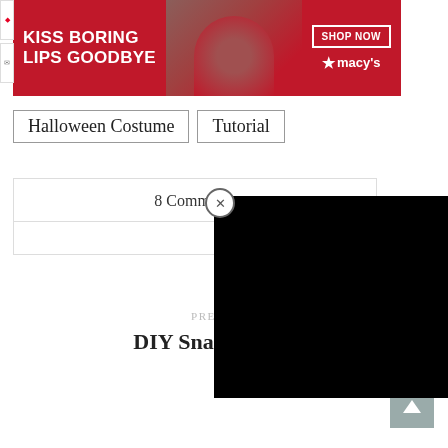[Figure (photo): Macy's advertisement banner: 'KISS BORING LIPS GOODBYE' with woman's face showing red lips and 'SHOP NOW' button with Macy's star logo on red background]
Halloween Costume
Tutorial
8 Comments
[Figure (screenshot): Black video player overlay in bottom right area with close (X) button]
PREVIOUS
DIY Snail Costume